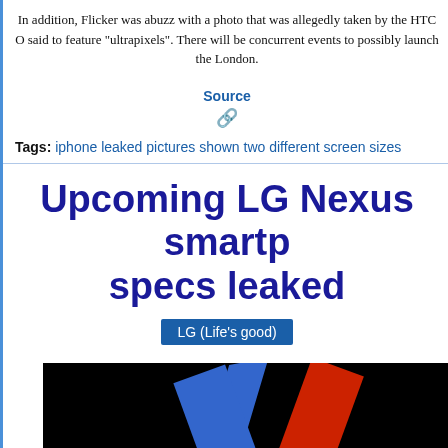In addition, Flicker was abuzz with a photo that was allegedly taken by the HTC O said to feature "ultrapixels". There will be concurrent events to possibly launch the London.
Source
Tags: iphone leaked pictures shown two different screen sizes
Upcoming LG Nexus smartp specs leaked
[Figure (logo): LG (Life's good) badge/button in blue]
[Figure (photo): Black background with blue and red diagonal stripe logo resembling LG Nexus branding]